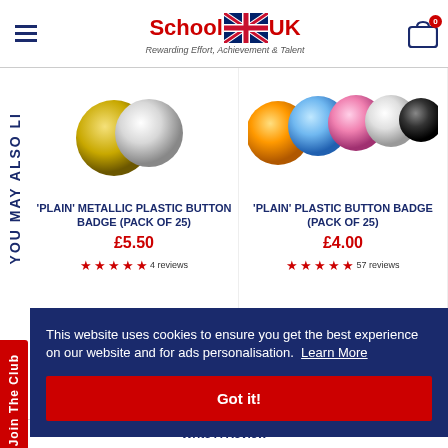[Figure (screenshot): SchoolBadgesUK website header with logo, hamburger menu, and cart icon]
[Figure (photo): Plain metallic plastic button badge product image - gold and white spheres]
'PLAIN' METALLIC PLASTIC BUTTON BADGE (PACK OF 25)
£5.50
4 reviews
[Figure (photo): Plain plastic button badge product image - orange, blue, pink, white, black spheres]
'PLAIN' PLASTIC BUTTON BADGE (PACK OF 25)
£4.00
57 reviews
YOU MAY ALSO LI
Join The Club
This website uses cookies to ensure you get the best experience on our website and for ads personalisation. Learn More
Got it!
Write a Review